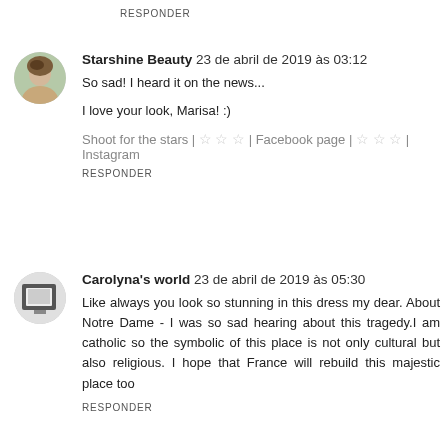RESPONDER
Starshine Beauty 23 de abril de 2019 às 03:12
So sad! I heard it on the news...
I love your look, Marisa! :)
Shoot for the stars | ☆ ☆ ☆ | Facebook page | ☆ ☆ ☆ | Instagram
RESPONDER
Carolyna's world 23 de abril de 2019 às 05:30
Like always you look so stunning in this dress my dear. About Notre Dame - I was so sad hearing about this tragedy.I am catholic so the symbolic of this place is not only cultural but also religious. I hope that France will rebuild this majestic place too
RESPONDER